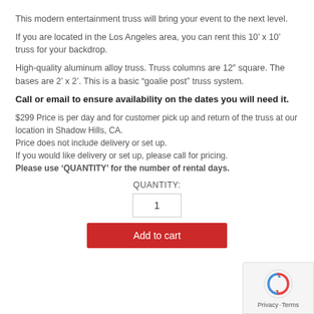This modern entertainment truss will bring your event to the next level.
If you are located in the Los Angeles area, you can rent this 10’ x 10’ truss for your backdrop.
High-quality aluminum alloy truss. Truss columns are 12″ square. The bases are 2’ x 2’. This is a basic “goalie post” truss system.
Call or email to ensure availability on the dates you will need it.
$299 Price is per day and for customer pick up and return of the truss at our location in Shadow Hills, CA.
Price does not include delivery or set up.
If you would like delivery or set up, please call for pricing.
Please use ‘QUANTITY’ for the number of rental days.
QUANTITY:
1
Add to cart